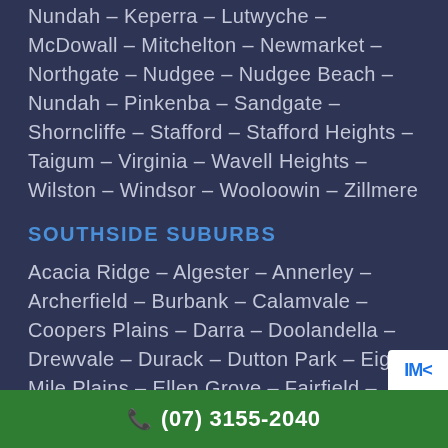Nundah – Keperra – Lutwyche – McDowall – Mitchelton – Newmarket – Northgate – Nudgee – Nudgee Beach – Nundah – Pinkenba – Sandgate – Shorncliffe – Stafford – Stafford Heights – Taigum – Virginia – Wavell Heights – Wilston – Windsor – Wooloowin – Zillmere
SOUTHSIDE SUBURBS
Acacia Ridge – Algester – Annerley – Archerfield – Burbank – Calamvale – Coopers Plains – Darra – Doolandella – Drewvale – Durack – Dutton Park – Eight Mile Plains – Ellen Grove – Fairfield – Forest Lake – Greenslopes – Heathwood – Holland Park – Holland Park West – Inala – Karawatha – Kuraby – Larapinta – Macgregor – Mackenzie – Mansfield – Moorooka –
(07) 3155-2040